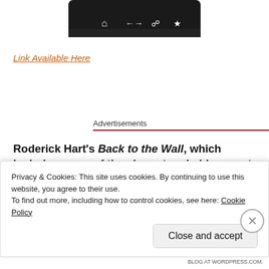[Figure (screenshot): Partial view of a smartphone/browser navigation bar with icons on dark background]
Link Available Here
Advertisements
Roderick Hart's Back to the Wall, which includes some of the characters in his recent novel Interleaved Lives:
[Figure (screenshot): Partial dark blue book cover image]
Privacy & Cookies: This site uses cookies. By continuing to use this website, you agree to their use.
To find out more, including how to control cookies, see here: Cookie Policy
Close and accept